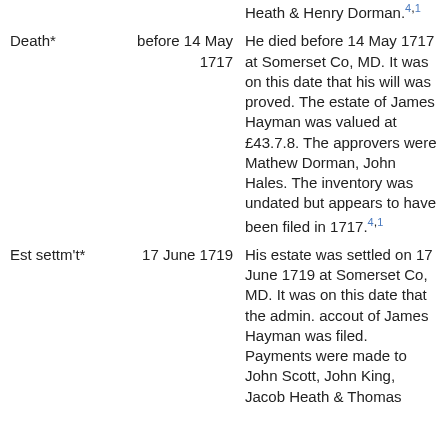| Event | Date | Description |
| --- | --- | --- |
|  |  | Heath & Henry Dorman.4,1 |
| Death* | before 14 May 1717 | He died before 14 May 1717 at Somerset Co, MD. It was on this date that his will was proved. The estate of James Hayman was valued at £43.7.8. The approvers were Mathew Dorman, John Hales. The inventory was undated but appears to have been filed in 1717.4,1 |
| Est settm't* | 17 June 1719 | His estate was settled on 17 June 1719 at Somerset Co, MD. It was on this date that the admin. accout of James Hayman was filed. Payments were made to John Scott, John King, Jacob Heath & Thomas |